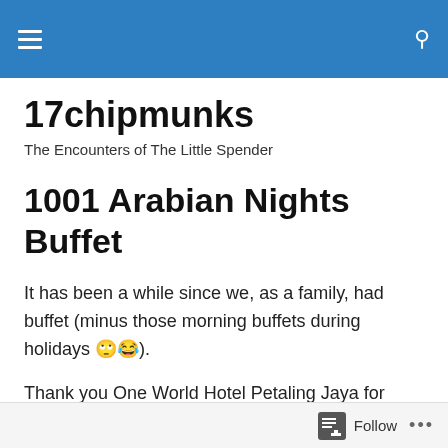17chipmunks — navigation bar with hamburger menu and search icon
17chipmunks
The Encounters of The Little Spender
1001 Arabian Nights Buffet
It has been a while since we, as a family, had buffet (minus those morning buffets during holidays 🙄😂).
Thank you One World Hotel Petaling Jaya for having us today. In the first time in my life, I won a lucky draw. 😆😅I never had luck for lucky draws. It was a real surprised to find my name of the…
Follow